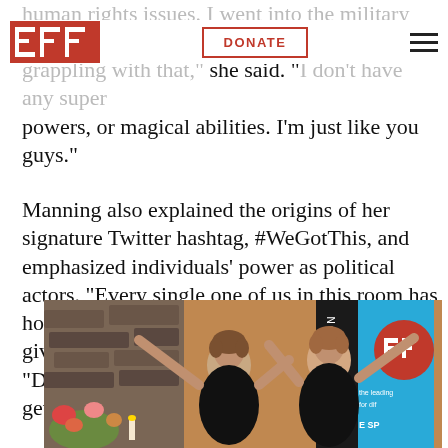EFF | DONATE
human rights issues. I went into the military and was faced with a decision that I'm still grappling with that," she said. "I don't have any super powers, or magical abilities. I'm just like you guys."
Manning also explained the origins of her signature Twitter hashtag, #WeGotThis, and emphasized individuals' power as political actors. "Every single one of us in this room has hope. Hope is inside of you. Nobody can ever give you hope. I had to learn that," she said. "Don't ever let what's happening in the world get you down."
[Figure (photo): Two women standing in front of an EFF (Electronic Frontier Foundation) banner, both with arms raised, smiling. Inside a venue with stone walls and flowers.]